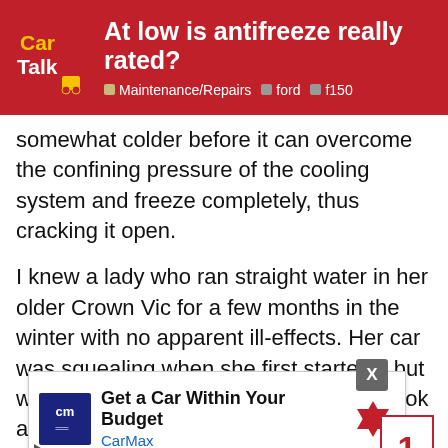At low is antifreeze really rated? Maintenance/Repairs ford f150
somewhat colder before it can overcome the confining pressure of the cooling system and freeze completely, thus cracking it open.
I knew a lady who ran straight water in her older Crown Vic for a few months in the winter with no apparent ill-effects. Her car was squealing when she first started it but would eventually go away. I offered to look at it for her and I found the water pump was seized up. When I took it off, some very rusty ice poured out.
I guess what had happened was that a radiator hose had [burst a few months earlier and some relation] of hers [repaired it]. So the w[ater pump didn't le]ak anyth[ing so she didn't notice] shot [...]
[Figure (screenshot): CarMax advertisement banner: 'Get a Car Within Your Budget' with CarMax logo and navigation icon, overlaid on the article text. Includes a close (X) button and bottom-right red corner box with number 1.]